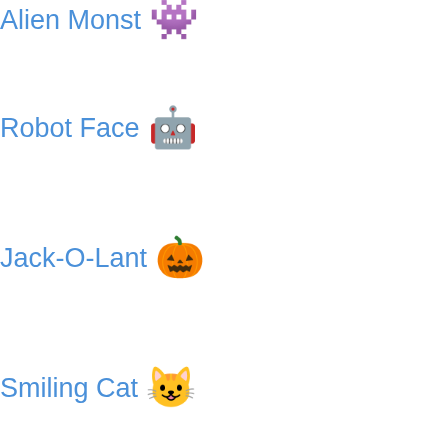Alien Monst 👾
Robot Face 🤖
Jack-O-Lant 🎃
Smiling Cat 😺
Grinning Ca 😸
Cat Face wi 😹
Smiling Cat 😻
Cat Face wi 😼
Kissing Cat 😽